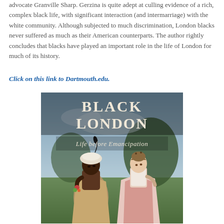advocate Granville Sharp. Gerzina is quite adept at culling evidence of a rich, complex black life, with significant interaction (and intermarriage) with the white community. Although subjected to much discrimination, London blacks never suffered as much as their American counterparts. The author rightly concludes that blacks have played an important role in the life of London for much of its history.
Click on this link to Dartmouth.edu.
[Figure (illustration): Book cover of 'Black London: Life before Emancipation' showing a painting of two young women, one Black and one white, in historical dress against a landscape background.]